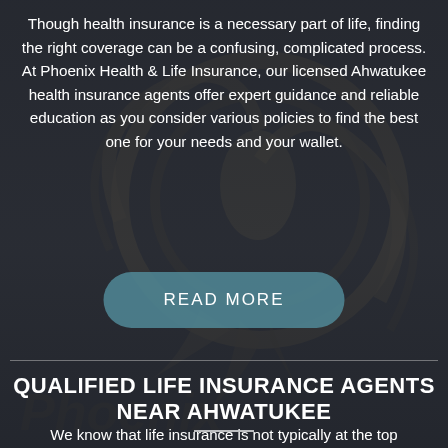[Figure (photo): Dark background with a large Phoenix Health & Life Insurance logo/emblem (phoenix bird with circular wing design in gold/bronze tones) visible in the center-right area of the image]
Though health insurance is a necessary part of life, finding the right coverage can be a confusing, complicated process. At Phoenix Health & Life Insurance, our licensed Ahwatukee health insurance agents offer expert guidance and reliable education as you consider various policies to find the best one for your needs and your wallet.
READ MORE
QUALIFIED LIFE INSURANCE AGENTS NEAR AHWATUKEE
We know that life insurance is not typically at the top